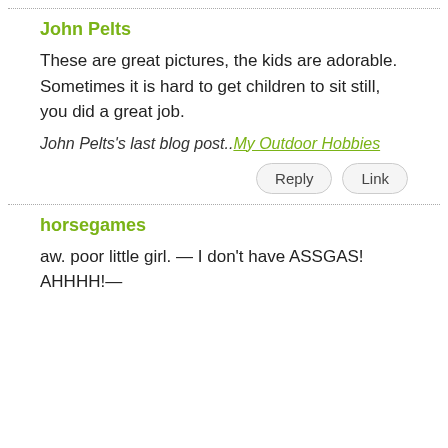John Pelts
These are great pictures, the kids are adorable. Sometimes it is hard to get children to sit still, you did a great job.
John Pelts's last blog post..My Outdoor Hobbies
horsegames
aw. poor little girl. — I don't have ASSGAS! AHHHH!—